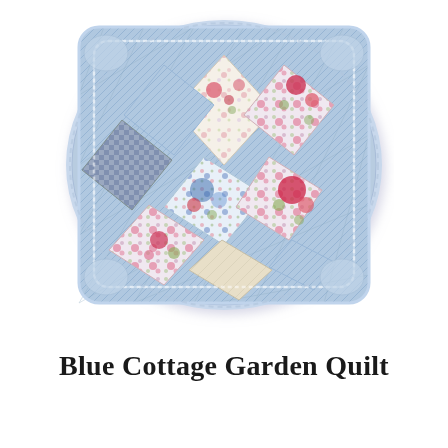[Figure (illustration): A decorative quilted throw pillow featuring a patchwork design with diamond-shaped fabric pieces in blue, cream/white, and floral patterns (pink roses, blue flowers, green leaves). The pillow has a blue quilted border with a scalloped edge and ruffled trim.]
Blue Cottage Garden Quilt